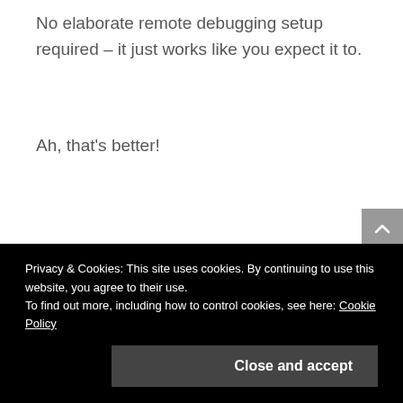No elaborate remote debugging setup required – it just works like you expect it to.
Ah, that's better!
Privacy & Cookies: This site uses cookies. By continuing to use this website, you agree to their use.
To find out more, including how to control cookies, see here: Cookie Policy
Close and accept